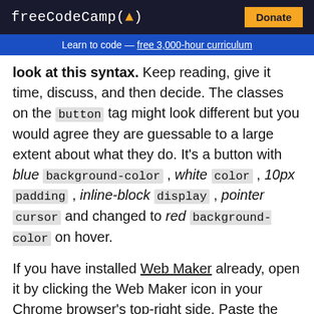freeCodeCamp(🔥)  Donate
Learn to code — free 3,000-hour curriculum
look at this syntax. Keep reading, give it time, discuss, and then decide. The classes on the button tag might look different but you would agree they are guessable to a large extent about what they do. It's a button with blue background-color , white color , 10px padding , inline-block display , pointer cursor and changed to red background-color on hover.
If you have installed Web Maker already, open it by clicking the Web Maker icon in your Chrome browser's top-right side. Paste the above HTML